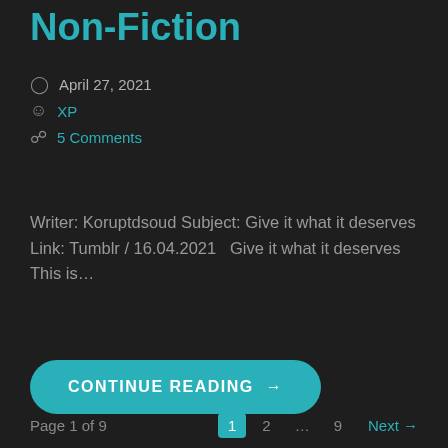Non-Fiction
April 27, 2021
XP
5 Comments
Writer: Koruptdsoud Subject: Give it what it deserves Link: Tumblr / 16.04.2021   Give it what it deserves  This is…
CONTINUE READING →
Page 1 of 9   1  2  ...  9  Next →